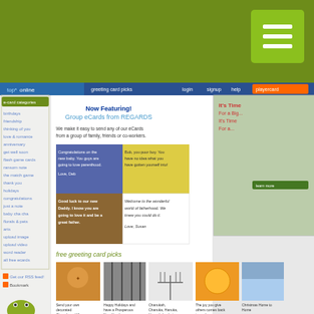[Figure (screenshot): Screenshot of Regards.com website showing e-card categories sidebar, 'Now Featuring! Group eCards from REGARDS' heading, group card example with congratulations messages, free greeting card picks section with holiday cards, and ecard category favorites section.]
Regards.com offers a free service that allows you to create e-cards for any occasion. Your created e card is stored on their system as a unique and private web page with its own address that can only be accessed by you and the recipient of your e-cards. No long downloads or email attachments required